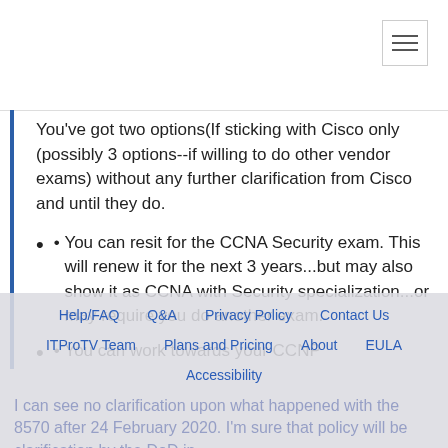You've got two options(If sticking with Cisco only (possibly 3 options--if willing to do other vendor exams) without any further clarification from Cisco and until they do.
You can resit for the CCNA Security exam. This will renew it for the next 3 years...but may also show it as CCNA with Security specialization...or may require you do another exam.
You can work towards your CCNP
Help/FAQ | Q&A | Privacy Policy | Contact Us | ITProTV Team | Plans and Pricing | About | EULA | Accessibility